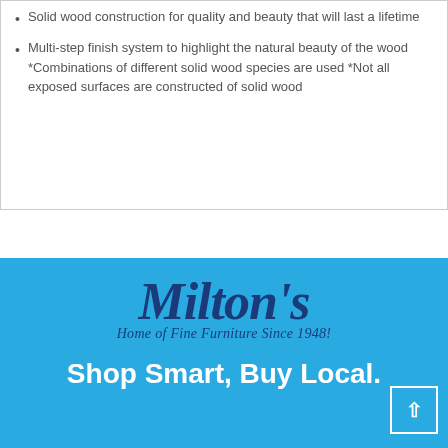Solid wood construction for quality and beauty that will last a lifetime
Multi-step finish system to highlight the natural beauty of the wood *Combinations of different solid wood species are used *Not all exposed surfaces are constructed of solid wood
[Figure (logo): Milton's Home of Fine Furniture Since 1948! logo in dark blue italic script on a light blue background]
Shop Smart, Buy Local.